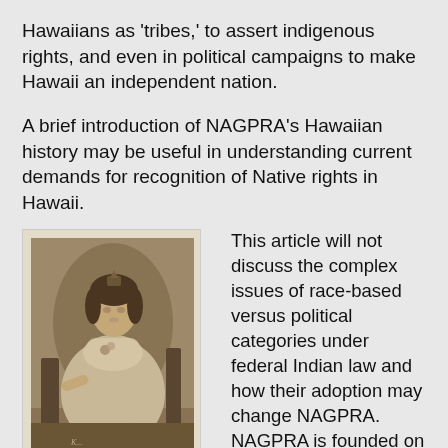Hawaiians as 'tribes,' to assert indigenous rights, and even in political campaigns to make Hawaii an independent nation.
A brief introduction of NAGPRA's Hawaiian history may be useful in understanding current demands for recognition of Native rights in Hawaii.
[Figure (photo): Sepia-toned historical portrait photograph of a woman in Victorian-era formal dress, seated in a chair, wearing a floral corsage, with a decorative backdrop behind her. A handwritten signature appears at the bottom of the photograph.]
This article will not discuss the complex issues of race-based versus political categories under federal Indian law and how their adoption may change NAGPRA. NAGPRA is founded on the federal-Indian trust relationship, which is both treaty and legislation based; it does not